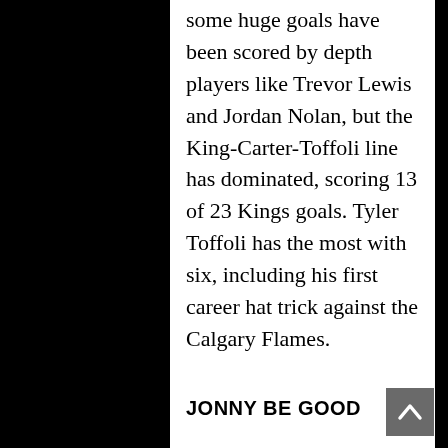some huge goals have been scored by depth players like Trevor Lewis and Jordan Nolan, but the King-Carter-Toffoli line has dominated, scoring 13 of 23 Kings goals. Tyler Toffoli has the most with six, including his first career hat trick against the Calgary Flames.
JONNY BE GOOD
Jonathan Quick has started in goal during the streak so far. He hasn't put up outstanding